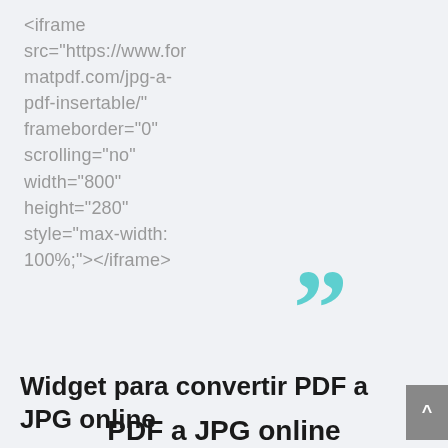<iframe src="https://www.formatpdf.com/jpg-a-pdf-insertable/" frameborder="0" scrolling="no" width="800" height="280" style="max-width: 100%;"></iframe>
[Figure (illustration): Large teal/turquoise double closing quotation mark decorative symbol]
Widget para convertir PDF a JPG online
PDF a JPG online